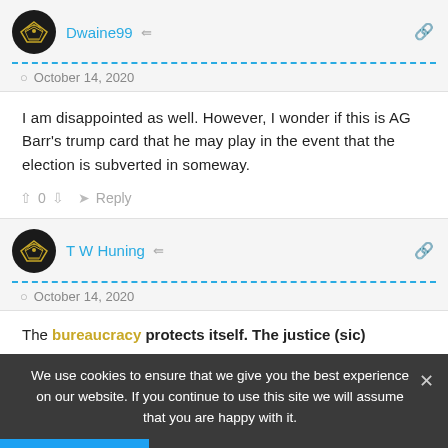Dwaine99 — October 14, 2020
I am disappointed as well. However, I wonder if this is AG Barr's trump card that he may play in the event that the election is subverted in someway.
^ 0 v Reply
T W Huning — October 14, 2020
The bureaucracy protects itself. The justice (sic)
We use cookies to ensure that we give you the best experience on our website. If you continue to use this site we will assume that you are happy with it.